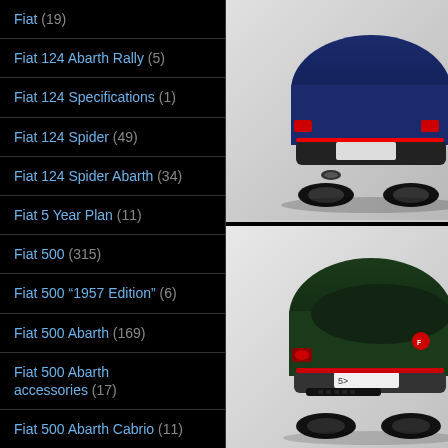Fiat (19)
Fiat 124 Abarth Rally (5)
Fiat 124 Specifications (1)
Fiat 124 Spider (49)
Fiat 124 Spider Abarth (34)
Fiat 5 Year Plan (11)
Fiat 500 (315)
Fiat 500 "1957 Edition" (6)
Fiat 500 Abarth (169)
Fiat 500 Abarth accessories (17)
Fiat 500 Abarth Cabrio (11)
Fiat 500 Abarth Cabrio Launch (2)
[Figure (photo): Rear view of a blue/dark car on grey background, showing exhaust and bumper details]
[Figure (photo): Rear view of a dark green Fiat 500 on grey background, showing licence plate area and tail lights]